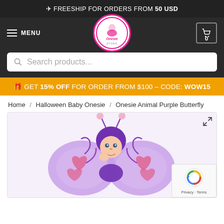✈ FREESHIP FOR ORDERS FROM 50 USD
[Figure (logo): Onesie Store logo - circular pink bordered logo with fairy/ballerina illustration and text 'Onesie Store']
Search products...
🎁 GET 15% OFF FOR ORDER FROM $100 – CODE: WOW15
Home / Halloween Baby Onesie / Onesie Animal Purple Butterfly
[Figure (photo): Baby wearing a purple butterfly Halloween onesie costume with large purple wings decorated with pink heart swirls, and a purple fuzzy butterfly head hood with pink ball antennae. Baby is looking at camera with hand near mouth.]